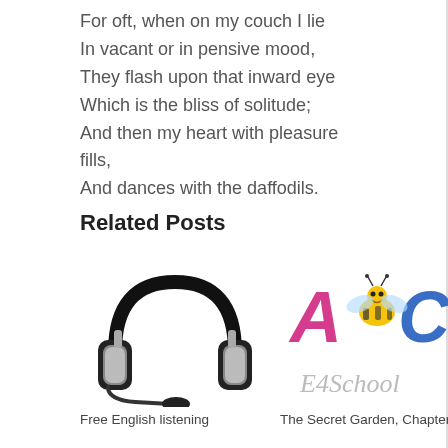For oft, when on my couch I lie
In vacant or in pensive mood,
They flash upon that inward eye
Which is the bliss of solitude;
And then my heart with pleasure fills,
And dances with the daffodils.
Related Posts
[Figure (photo): Black and white headphones with microphone on white background]
Free English listening
[Figure (logo): ABC E4School logo with colorful letters A, B, C and a cartoon bee]
The Secret Garden, Chapter